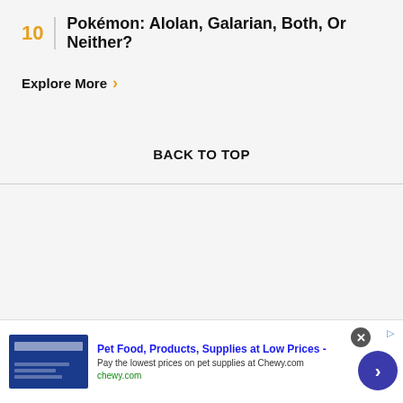10 Pokémon: Alolan, Galarian, Both, Or Neither?
Explore More
BACK TO TOP
[Figure (infographic): Advertisement banner for Chewy.com pet supplies: 'Pet Food, Products, Supplies at Low Prices - Pay the lowest prices on pet supplies at Chewy.com' with close button, ads icon, and next arrow button]